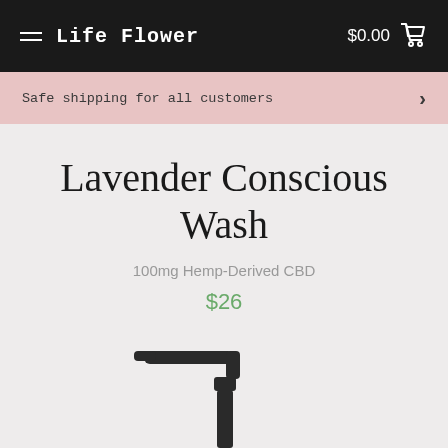Life Flower  $0.00
Safe shipping for all customers
Lavender Conscious Wash
100mg Hemp-Derived CBD
$26
[Figure (photo): Black pump dispenser bottle, partially visible at bottom of page]